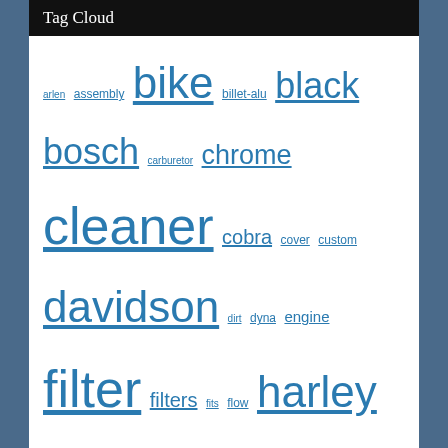Tag Cloud
arlen assembly bike billet-alu black bosch carburetor chrome cleaner cobra cover custom davidson dirt dyna engine filter filters fits flow harley high honda indian intake kawasaki luftfilter luftmassenmesser mini motorcycle motorcycles ness performance replacement rick's schwarz softail sportster stage street suzuki system touring twin yamaha
Recent Search Terms
air plenum motorcycle